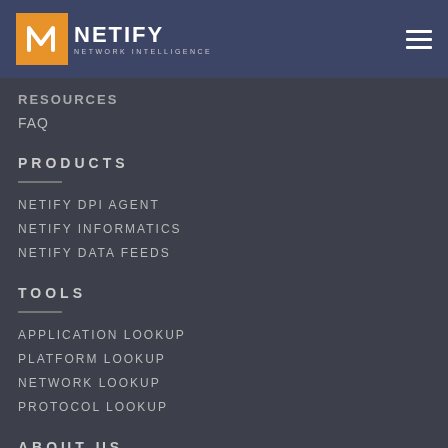[Figure (logo): Netify Network Intelligence logo with orange N icon]
RESOURCES
FAQ
PRODUCTS
NETIFY DPI AGENT
NETIFY INFORMATICS
NETIFY DATA FEEDS
TOOLS
APPLICATION LOOKUP
PLATFORM LOOKUP
NETWORK LOOKUP
PROTOCOL LOOKUP
ABOUT US